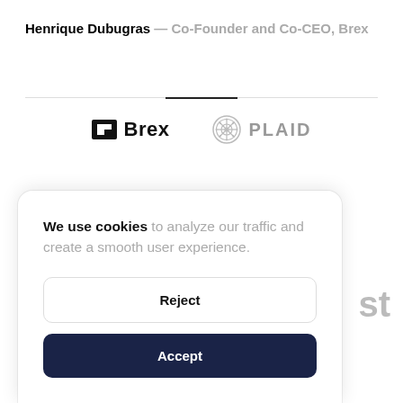Henrique Dubugras — Co-Founder and Co-CEO, Brex
[Figure (logo): Brex logo (icon + wordmark) and Plaid logo (geometric icon + wordmark) side by side below a horizontal divider]
We use cookies to analyze our traffic and create a smooth user experience.
Reject
Accept